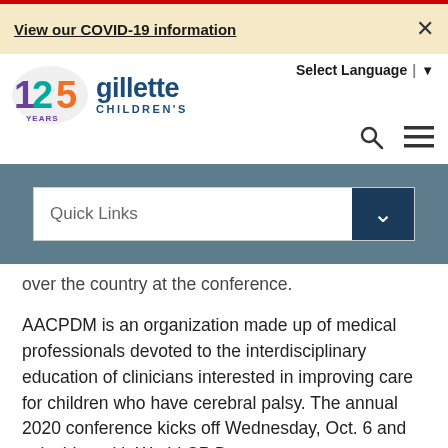View our COVID-19 information
[Figure (logo): Gillette Children's 125 years anniversary logo with teal, purple, and orange badge and dark blue text]
Select Language | ▼
[Figure (screenshot): Quick Links dropdown navigation bar on gray background]
over the country at the conference.
AACPDM is an organization made up of medical professionals devoted to the interdisciplinary education of clinicians interested in improving care for children who have cerebral palsy. The annual 2020 conference kicks off Wednesday, Oct. 6 and coincides with World CP Day.
“I’ve been a member of AACPDM since 1991, and it is the most important organization I belong to professionally,” Novacheck said. “It is the only organization that provides a venue for having multidisciplinary intellectual